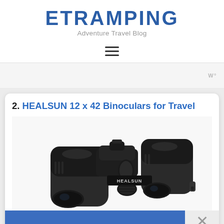ETRAMPING
Adventure Travel Blog
[Figure (other): Hamburger menu icon (three horizontal lines)]
[Figure (other): Advertisement placeholder with small logo icon in top right]
2. HEALSUN 12 x 42 Binoculars for Travel
[Figure (photo): Photo of HEALSUN 12x42 black binoculars product shot on white background]
[Figure (other): Blue advertisement banner at bottom with close (X) button on right side and small logo watermark]